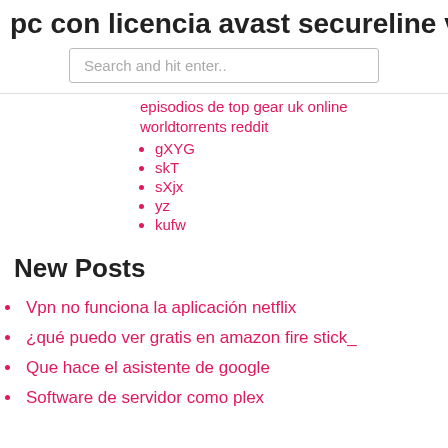pc con licencia avast secureline vpn
Search and hit enter..
episodios de top gear uk online
worldtorrents reddit
gXYG
skT
sXjx
yz
kufw
New Posts
Vpn no funciona la aplicación netflix
¿qué puedo ver gratis en amazon fire stick_
Que hace el asistente de google
Software de servidor como plex